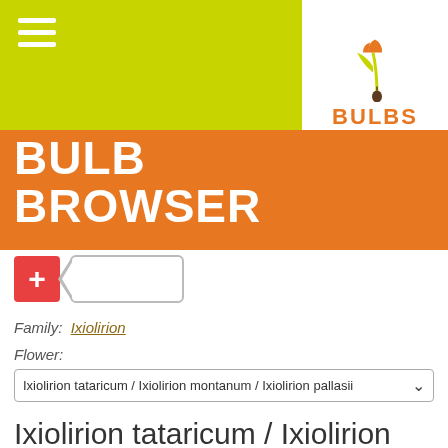[Figure (logo): Bulbs dig.drop.done logo with tulip/plant icon in orange and green]
BULB BROWSER
[Figure (other): Red plus button and tag/bookmark button UI elements]
Family: Ixiolirion
Flower:
Ixiolirion tataricum / Ixiolirion montanum / Ixiolirion pallasii
Ixiolirion tataricum / Ixiolirion montanum / Ixiolirion pallasii
("Lavender mountain lily / Tartar lily /